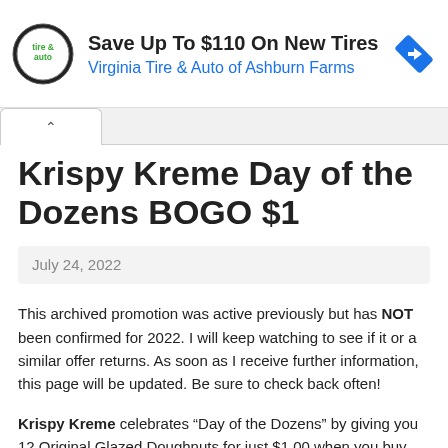[Figure (logo): Virginia Tire & Auto circular logo with text 'tire & auto' inside]
Save Up To $110 On New Tires
Virginia Tire & Auto of Ashburn Farms
Krispy Kreme Day of the Dozens BOGO $1
July 24, 2022
This archived promotion was active previously but has NOT been confirmed for 2022. I will keep watching to see if it or a similar offer returns. As soon as I receive further information, this page will be updated. Be sure to check back often!
Krispy Kreme celebrates “Day of the Dozens” by giving you 12 Original Glazed Doughnuts for just $1.00 when you buy any dozen at the regular menu price! As you may have